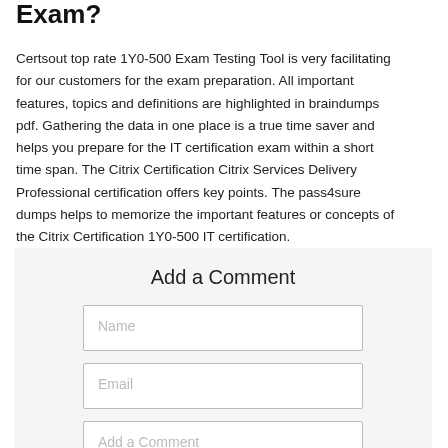Exam?
Certsout top rate 1Y0-500 Exam Testing Tool is very facilitating for our customers for the exam preparation. All important features, topics and definitions are highlighted in braindumps pdf. Gathering the data in one place is a true time saver and helps you prepare for the IT certification exam within a short time span. The Citrix Certification Citrix Services Delivery Professional certification offers key points. The pass4sure dumps helps to memorize the important features or concepts of the Citrix Certification 1Y0-500 IT certification.
Add a Comment
Name
Email
Add a Comment